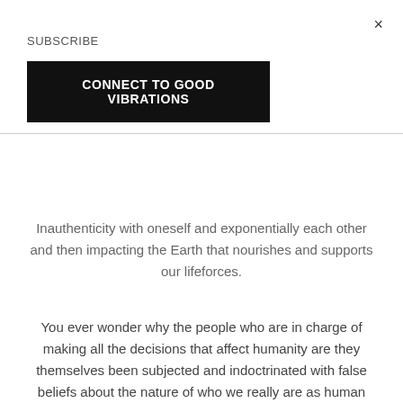×
SUBSCRIBE
CONNECT TO GOOD VIBRATIONS
Inauthenticity with oneself and exponentially each other and then impacting the Earth that nourishes and supports our lifeforces.
You ever wonder why the people who are in charge of making all the decisions that affect humanity are they themselves been subjected and indoctrinated with false beliefs about the nature of who we really are as human biological systems and